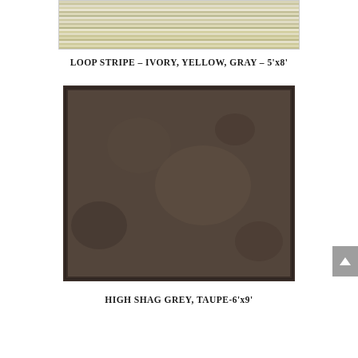[Figure (photo): Top portion of a striped loop rug in ivory, yellow, and gray colors with horizontal stripe pattern]
LOOP STRIPE – IVORY, YELLOW, GRAY – 5'x8'
[Figure (photo): A high shag rug in grey taupe color, thick pile texture, rectangular shape, photographed from above]
HIGH SHAG GREY, TAUPE-6'x9'